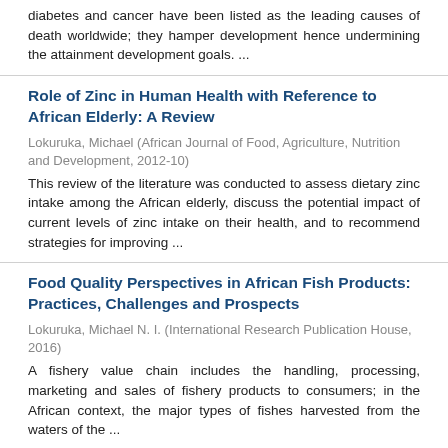diabetes and cancer have been listed as the leading causes of death worldwide; they hamper development hence undermining the attainment development goals. ...
Role of Zinc in Human Health with Reference to African Elderly: A Review
Lokuruka, Michael (African Journal of Food, Agriculture, Nutrition and Development, 2012-10)
This review of the literature was conducted to assess dietary zinc intake among the African elderly, discuss the potential impact of current levels of zinc intake on their health, and to recommend strategies for improving ...
Food Quality Perspectives in African Fish Products: Practices, Challenges and Prospects
Lokuruka, Michael N. I. (International Research Publication House, 2016)
A fishery value chain includes the handling, processing, marketing and sales of fishery products to consumers; in the African context, the major types of fishes harvested from the waters of the ...
Role of Fatty Acids of Milk and Dairy Products in Cardiovascular Diseases: A Review